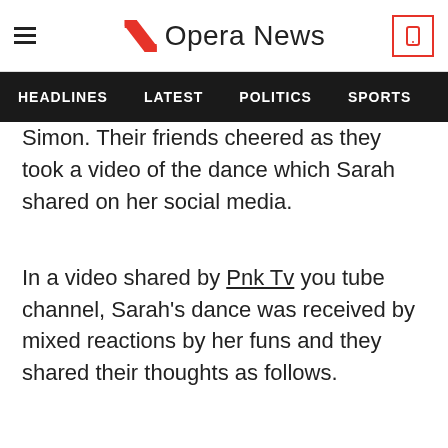Opera News
HEADLINES  LATEST  POLITICS  SPORTS
Simon. Their friends cheered as they took a video of the dance which Sarah shared on her social media.
In a video shared by Pnk Tv you tube channel, Sarah's dance was received by mixed reactions by her funs and they shared their thoughts as follows.
Since then the video has been pulled down by Sarah. Watch the link below.